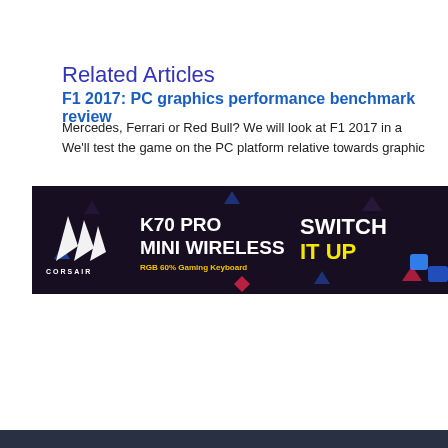Related Articles
F1 2017: PC graphics performance benchmark review
Mercedes, Ferrari or Red Bull? We will look at F1 2017 in a We'll test the game on the PC platform relative towards graphic
[Figure (illustration): Corsair K70 PRO Mini Wireless RGB 60% Gaming Keyboard advertisement banner with 'SWITCH IT UP' tagline on dark background]